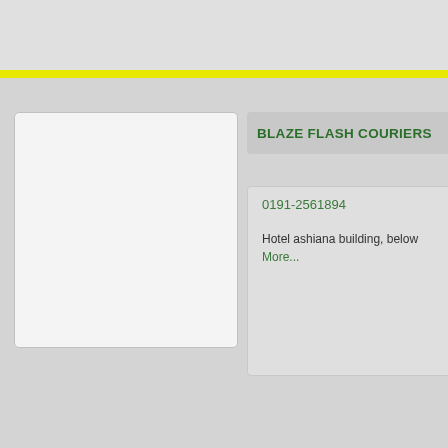[Figure (other): Partial top card cut off at top of page]
BLAZE FLASH COURIERS
0191-2561894
Hotel ashiana building, below More...
CAPITAL CARGO CARRIER
0191-2490059
49, yard no-5, transport nagar